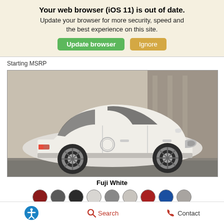Your web browser (iOS 11) is out of date. Update your browser for more security, speed and the best experience on this site.
Update browser | Ignore
Starting MSRP
[Figure (photo): Side profile photo of a white Jaguar E-Pace SUV parked on a street with a building in the background.]
Fuji White
[Figure (other): Color swatch options row: dark red, dark gray, black, light gray, medium gray, light silver, red, blue, taupe/gray]
Search
Contact